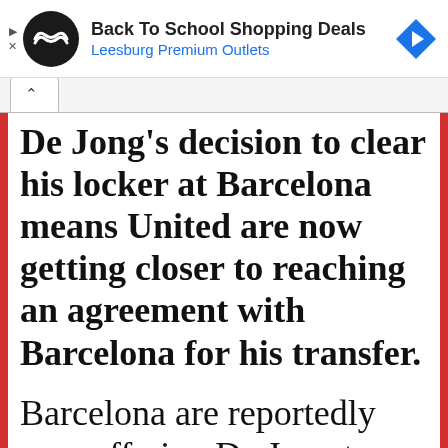[Figure (screenshot): Advertisement banner: Back To School Shopping Deals, Leesburg Premium Outlets, with circular black logo and blue diamond arrow icon]
De Jong's decision to clear his locker at Barcelona means United are now getting closer to reaching an agreement with Barcelona for his transfer.
Barcelona are reportedly now offering De Jong to interested clubs for €80million but no